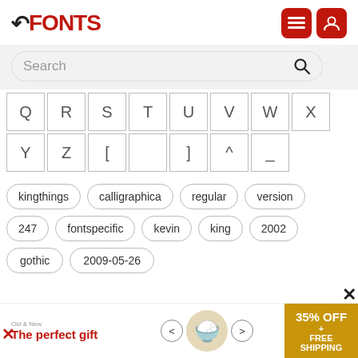FFONTS
Search
Q R S T U V W X
Y Z [ ] ^ _
kingthings
calligraphica
regular
version
247
fontspecific
kevin
king
2002
gothic
2009-05-26
[Figure (infographic): Advertisement banner: The perfect gift, 35% OFF + FREE SHIPPING]